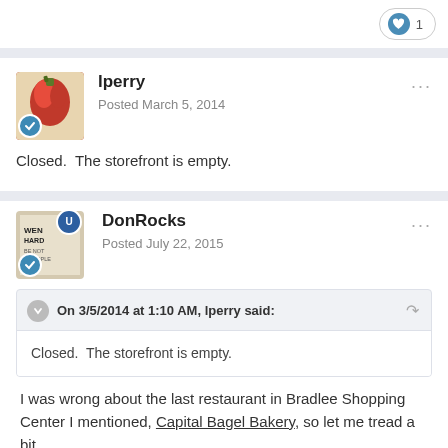[Figure (other): Like button with heart icon and count of 1]
lperry
Posted March 5, 2014

Closed.  The storefront is empty.
DonRocks
Posted July 22, 2015

On 3/5/2014 at 1:10 AM, lperry said:
Closed.  The storefront is empty.

I was wrong about the last restaurant in Bradlee Shopping Center I mentioned, Capital Bagel Bakery, so let me tread a bit